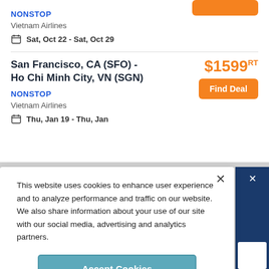NONSTOP
Vietnam Airlines
Sat, Oct 22 - Sat, Oct 29
San Francisco, CA (SFO) - Ho Chi Minh City, VN (SGN)
$1599 RT
Find Deal
NONSTOP
Vietnam Airlines
Thu, Jan 19 - Thu, Jan
[Figure (photo): Airplane nose/front section, partially visible, blue/silver tones]
This website uses cookies to enhance user experience and to analyze performance and traffic on our website. We also share information about your use of our site with our social media, advertising and analytics partners.
Accept Cookies